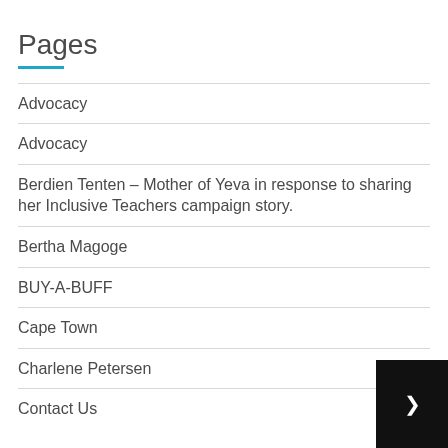Pages
Advocacy
Advocacy
Berdien Tenten – Mother of Yeva in response to sharing her Inclusive Teachers campaign story.
Bertha Magoge
BUY-A-BUFF
Cape Town
Charlene Petersen
Contact Us